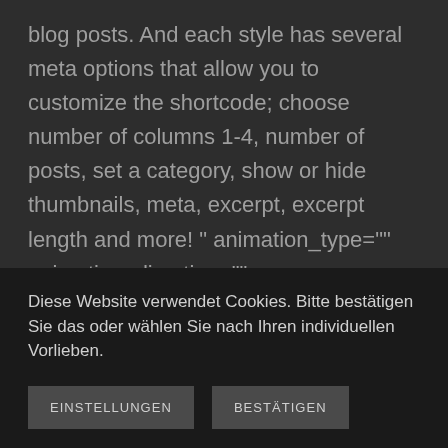blog posts. And each style has several meta options that allow you to customize the shortcode; choose number of columns 1-4, number of posts, set a category, show or hide thumbnails, meta, excerpt, excerpt length and more! " animation_type="" animation_direction="" animation_speed="0.1" class="" id=""][/tagline_box] [title size="2" content_align="left" style_type="" sep_color="" class="" id=""]Recent News Default Style [/title][recent_posts layout="default" columns="4" number_posts="4" cat_slug="" exclude_cats="" thumbnail="" title="" meta="" excerpt=""
Diese Website verwendet Cookies. Bitte bestätigen Sie das oder wählen Sie nach Ihren individuellen Vorlieben.
EINSTELLUNGEN
BESTÄTIGEN